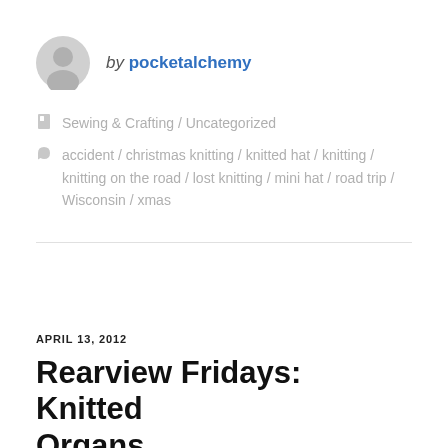by pocketalchemy
Sewing & Crafting / Uncategorized
accident / christmas knitting / knitted hat / knitting / knitting on the road / lost knitting / mini hat / road trip / Wisconsin / xmas
APRIL 13, 2012
Rearview Fridays: Knitted Organs